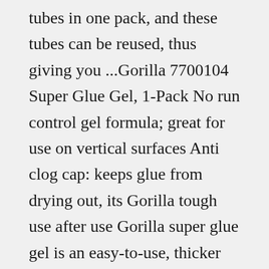tubes in one pack, and these tubes can be reused, thus giving you ...Gorilla 7700104 Super Glue Gel, 1-Pack No run control gel formula; great for use on vertical surfaces Anti clog cap: keeps glue from drying out, its Gorilla tough use after use Gorilla super glue gel is an easy-to-use, thicker and more controlled formula great for multiple surfaces and vertical applications. No run control gel formula. Anti clog cap: keeps glue from drying out, it's Gorilla tough use